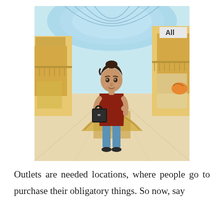[Figure (illustration): A 3D animated girl with dark hair pulled back, wearing a red tank top and light blue capri pants, carrying a black handbag over her shoulder. She stands in a shopping mall with a glass-domed ceiling, yellow/tan storefronts on both sides, and a sign reading 'All' visible in the upper right.]
Outlets are needed locations, where people go to purchase their obligatory things. So now, say